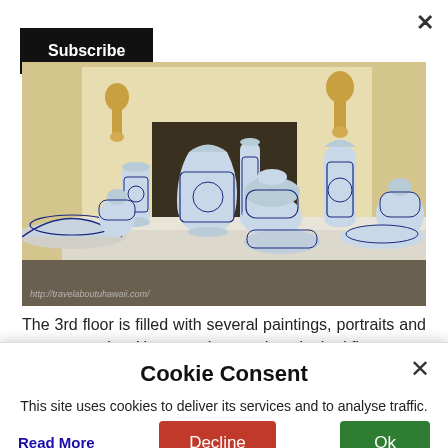Subscribe
[Figure (photo): A collection of blue and white ceramic vases, bowls, and decorative porcelain pieces displayed on a white mantelpiece with gold wall sconces in the background. Watermark: http://travelaboutuhawaii.com/]
The 3rd floor is filled with several paintings, portraits and more ceramics. However the wooden planked floor
Cookie Consent
This site uses cookies to deliver its services and to analyse traffic.
Read More
Decline
Ok